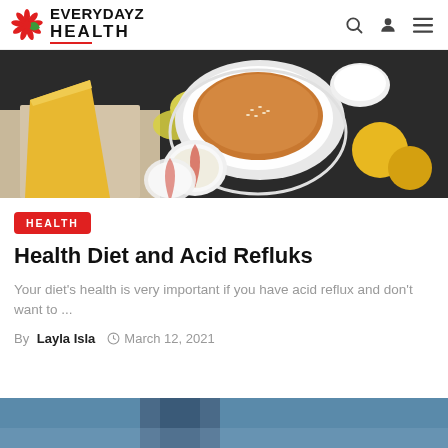EVERYDAY Z HEALTH
[Figure (photo): Overhead food photo showing a bowl of orange soup/smoothie with sesame seeds, sliced apples/radishes, cheese wedge, lemon slices, and citrus fruits on a dark background]
HEALTH
Health Diet and Acid Refluks
Your diet's health is very important if you have acid reflux and don't want to ...
By Layla Isla  March 12, 2021
[Figure (photo): Partial photo at bottom of page showing a person, cropped]